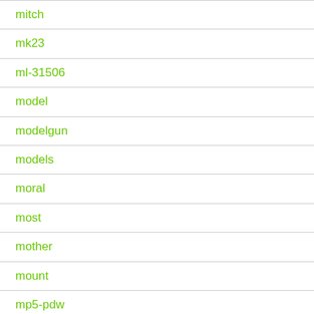mitch
mk23
ml-31506
model
modelgun
models
moral
most
mother
mount
mp5-pdw
mp5a3
mp5a4